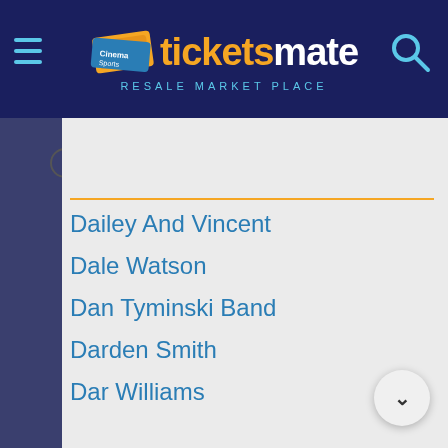[Figure (logo): TicketsMate Resale Market Place logo with ticket icon on dark navy header background]
Dailey And Vincent
Dale Watson
Dan Tyminski Band
Darden Smith
Dar Williams
Daniel O Donnell
Darius Rucker
Darrell Scott
Darryl Worley
Deana Carter